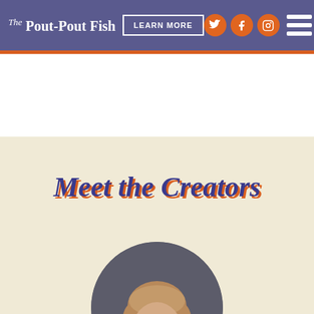The Pout-Pout Fish
Meet the Creators
[Figure (photo): Circular portrait photo of a woman with light brown/blonde hair, shown from shoulders up, against a dark gray background. Photo is cropped at bottom of page.]